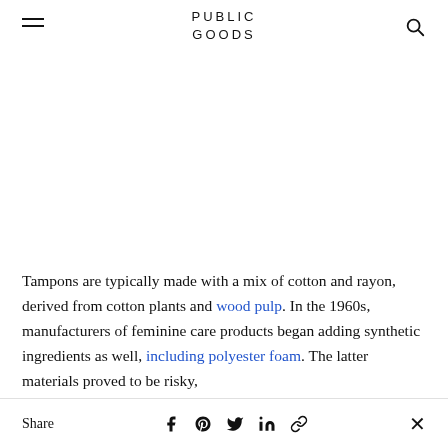PUBLIC GOODS
Tampons are typically made with a mix of cotton and rayon, derived from cotton plants and wood pulp. In the 1960s, manufacturers of feminine care products began adding synthetic ingredients as well, including polyester foam. The latter materials proved to be risky,
Share [Facebook] [Pinterest] [Twitter] [LinkedIn] [Link] ×